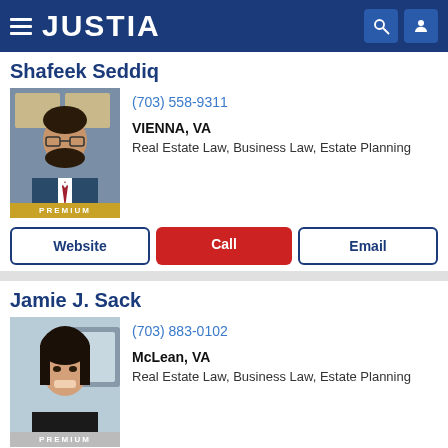JUSTIA
Shafeek Seddiq
[Figure (photo): Professional headshot of Shafeek Seddiq, a man in a suit and tie with glasses, with a PREMIUM badge]
(703) 558-9311
VIENNA, VA
Real Estate Law, Business Law, Estate Planning
Website   Call   Email
Jamie J. Sack
[Figure (photo): Professional headshot of Jamie J. Sack, a woman smiling, with a PREMIUM badge]
(703) 883-0102
McLean, VA
Real Estate Law, Business Law, Estate Planning
Website   Call   Email